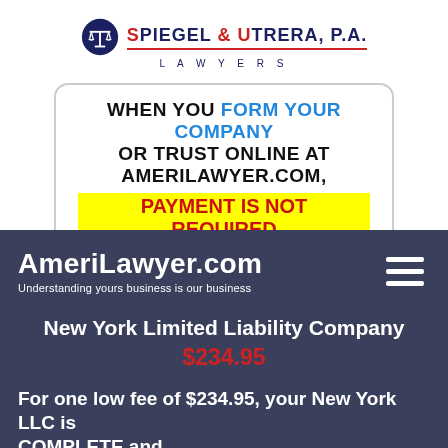[Figure (logo): Spiegel & Utrera, P.A. Lawyers logo with scales of justice icon]
WHEN YOU FORM YOUR COMPANY OR TRUST ONLINE AT AMERILAWYER.COM, PAYMENT IS NOT REQUIRED
AmeriLawyer.com — Understanding yours business is our business
New York Limited Liability Company
$234.95
For one low fee of $234.95, your New York LLC is COMPLETE and